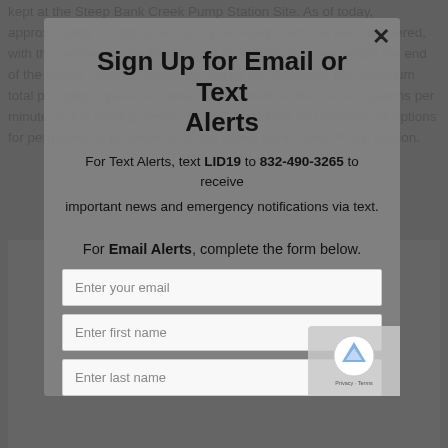kept at the Steep Bank Creek Pump Station Site. As of today, approximately 35,000 gpm of pumping equipment has been delivered, with the balance of the 46,000 gpm scheduled to arrive before the end of the month. After all temporary pumps are delivered, the maximum total pumping capacity at Steep Bank Creek will be 161,000 gallons per minute. In the coming weeks, the LID Board will be reviewing all options for permanent improvements to the Steep Bank Creek Pump Station.
Sign Up for Email or Text Alerts
For Text Alerts, text LID19 to 832-490-3265 to receive important news and emergency notifications via text.
For Email Alerts, complete the form below.
[Figure (screenshot): Email signup form with fields: Enter your email, Enter first name, Enter last name, and a reCAPTCHA widget]
Enter your email
Enter first name
Enter last name